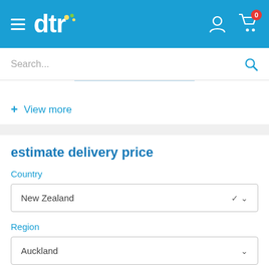[Figure (logo): DTR logo and navigation header with hamburger menu, dtr logo text with dots, user account icon, and shopping cart icon with badge showing 0]
Search...
+ View more
estimate delivery price
Country
New Zealand
Region
Auckland